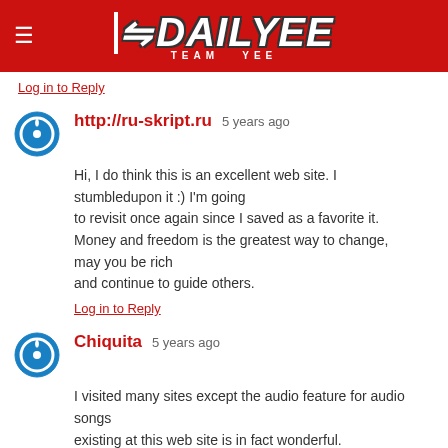DAILYEE — TEAM YEE
Log in to Reply
http://ru-skript.ru  5 years ago
Hi, I do think this is an excellent web site. I stumbledupon it :) I'm going to revisit once again since I saved as a favorite it. Money and freedom is the greatest way to change, may you be rich and continue to guide others.
Log in to Reply
Chiquita  5 years ago
I visited many sites except the audio feature for audio songs existing at this web site is in fact wonderful.